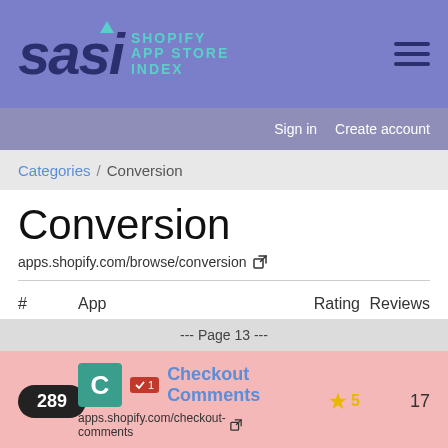[Figure (logo): SASI - Shopify App Store Index logo with hamburger menu]
Sign in   Create account
Categories / Conversion
Conversion
apps.shopify.com/browse/conversion
| # | App | Rating | Reviews |
| --- | --- | --- | --- |
| --- Page 13 --- |  |  |  |
| 289 | Checkout Comments  apps.shopify.com/checkout-comments | 5 | 17 |